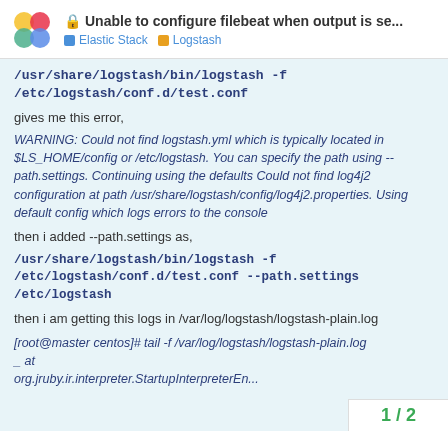🔒 Unable to configure filebeat when output is se... | Elastic Stack | Logstash
/usr/share/logstash/bin/logstash -f /etc/logstash/conf.d/test.conf
gives me this error,
WARNING: Could not find logstash.yml which is typically located in $LS_HOME/config or /etc/logstash. You can specify the path using --path.settings. Continuing using the defaults Could not find log4j2 configuration at path /usr/share/logstash/config/log4j2.properties. Using default config which logs errors to the console
then i added --path.settings as,
/usr/share/logstash/bin/logstash -f /etc/logstash/conf.d/test.conf --path.settings /etc/logstash
then i am getting this logs in /var/log/logstash/logstash-plain.log
[root@master centos]# tail -f /var/log/logstash/logstash-plain.log
_ at
org.jruby.ir.interpreter.StartupInterpreterEn...
1 / 2